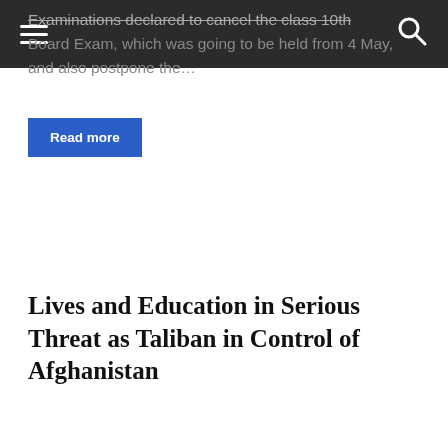Examinations declared to cancel the class 10th Board Exam, which was going to be held from 4 May, and also postpone the…
Read more
Lives and Education in Serious Threat as Taliban in Control of Afghanistan